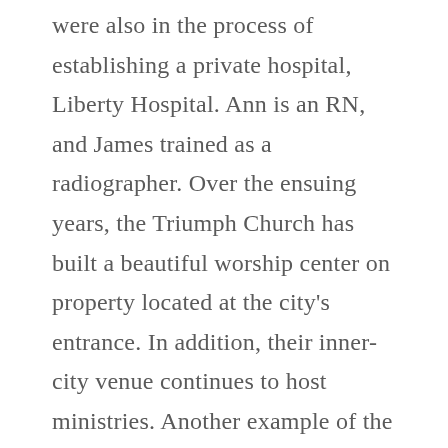were also in the process of establishing a private hospital, Liberty Hospital. Ann is an RN, and James trained as a radiographer. Over the ensuing years, the Triumph Church has built a beautiful worship center on property located at the city's entrance. In addition, their inner-city venue continues to host ministries. Another example of the Church's expansion and growth, the new property now hosts an elementary school. In addition, the Church sponsors many other creative ministries and at and being discussions in